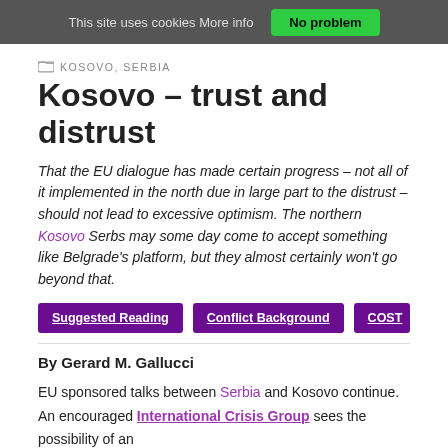This site uses cookies More info  No problem
KOSOVO, SERBIA
Kosovo – trust and distrust
That the EU dialogue has made certain progress – not all of it implemented in the north due in large part to the distrust – should not lead to excessive optimism. The northern Kosovo Serbs may some day come to accept something like Belgrade's platform, but they almost certainly won't go beyond that.
Suggested Reading
Conflict Background
COST
By Gerard M. Gallucci
EU sponsored talks between Serbia and Kosovo continue. An encouraged International Crisis Group sees the possibility of an